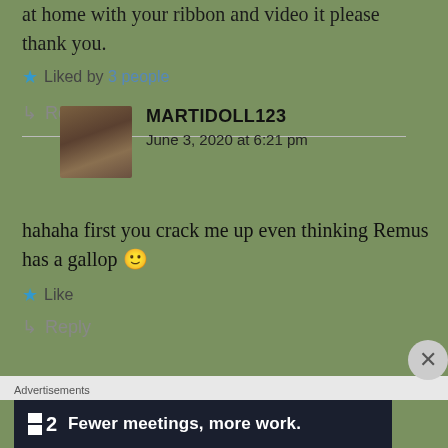at home with your ribbon and video it please thank you.
Liked by 3 people
Reply
MARTIDOLL123
June 3, 2020 at 6:21 pm
hahaha first you crack me up even thinking Remus has a gallop 🙂
Like
Reply
[Figure (screenshot): Advertisement banner: Fewer meetings, more work. (F2 logo)]
Advertisements